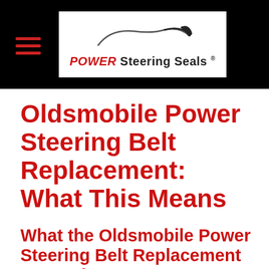POWER Steering Seals
Oldsmobile Power Steering Belt Replacement: What This Means
What the Oldsmobile Power Steering Belt Replacement Means for You